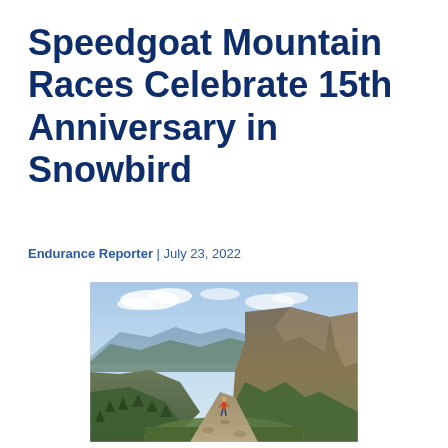Speedgoat Mountain Races Celebrate 15th Anniversary in Snowbird
Endurance Reporter | July 23, 2022
[Figure (photo): A trail runner ascending a rocky mountain ridge with sweeping views of green valleys and mountain ranges stretching into the distance under a partly cloudy sky. The landscape features dramatic alpine terrain with green vegetation on the slopes.]